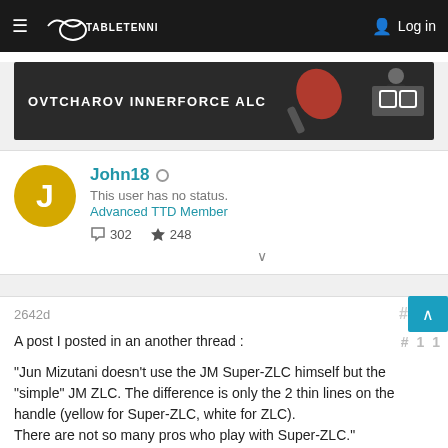TABLETENNISDAILY   Log in
[Figure (photo): Advertisement banner for Ovtcharov Innerforce ALC table tennis blade, showing a player holding a paddle on dark background with Butterfly logo]
John18 ○
This user has no status.
Advanced TTD Member
💬 302   👍 248
2642d   #11
A post I posted in an another thread :

"Jun Mizutani doesn't use the JM Super-ZLC himself but the "simple" JM ZLC. The difference is only the 2 thin lines on the handle (yellow for Super-ZLC, white for ZLC).
There are not so many pros who play with Super-ZLC."